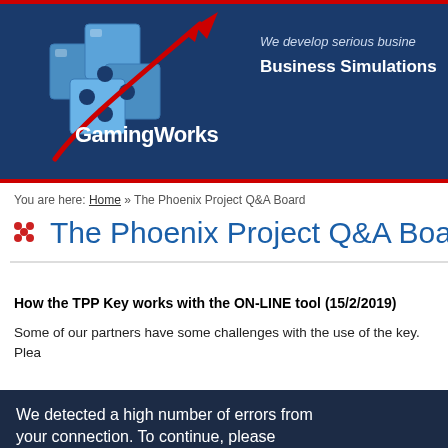[Figure (logo): GamingWorks logo with puzzle pieces and red arrow on dark blue banner background, with tagline 'We develop serious busi...' and 'Business Simulations']
You are here: Home » The Phoenix Project Q&A Board
The Phoenix Project Q&A Boa
How the TPP Key works with the ON-LINE tool (15/2/2019)
Some of our partners have some challenges with the use of the key. Plea
We detected a high number of errors from your connection. To continue, please